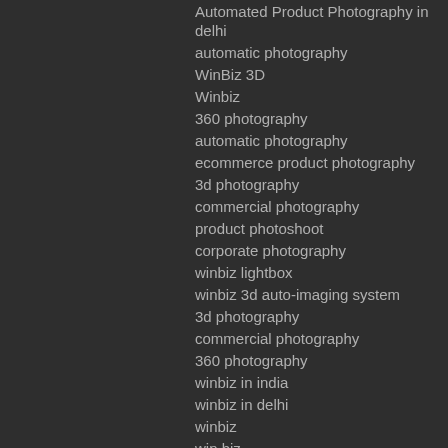Automated Product Photography in delhi
automatic photography
WinBiz 3D
Winbiz
360 photography
automatic photography
ecommerce product photography
3d photography
commercial photography
product photoshoot
corporate photography
winbiz lightbox
winbiz 3d auto-imaging system
3d photography
commercial photography
360 photography
winbiz in india
winbiz in delhi
winbiz
win biz
professional photography studio
commercial photography
product photoshoot
catalogs emendation
corporate photography